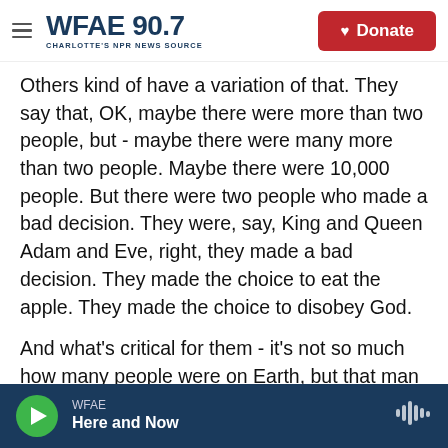[Figure (logo): WFAE 90.7 Charlotte's NPR News Source logo with hamburger menu and Donate button]
Others kind of have a variation of that. They say that, OK, maybe there were more than two people, but - maybe there were many more than two people. Maybe there were 10,000 people. But there were two people who made a bad decision. They were, say, King and Queen Adam and Eve, right, they made a bad decision. They made the choice to eat the apple. They made the choice to disobey God.
And what's critical for them - it's not so much how many people were on Earth, but that man and woman decided to disobey God and create that
[Figure (other): WFAE audio player bar with play button, station name WFAE, show title Here and Now, and waveform icon]